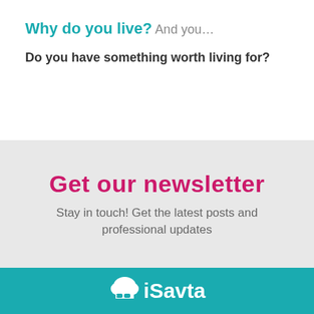Why do you live?
And you…
Do you have something worth living for?
Get our newsletter
Stay in touch! Get the latest posts and professional updates
[Figure (logo): iSavta logo with cloud icon on teal background]